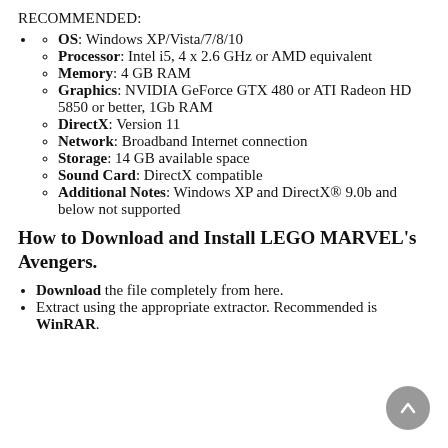RECOMMENDED:
OS: Windows XP/Vista/7/8/10
Processor: Intel i5, 4 x 2.6 GHz or AMD equivalent
Memory: 4 GB RAM
Graphics: NVIDIA GeForce GTX 480 or ATI Radeon HD 5850 or better, 1Gb RAM
DirectX: Version 11
Network: Broadband Internet connection
Storage: 14 GB available space
Sound Card: DirectX compatible
Additional Notes: Windows XP and DirectX® 9.0b and below not supported
How to Download and Install LEGO MARVEL's Avengers.
Download the file completely from here.
Extract using the appropriate extractor. Recommended is WinRAR.